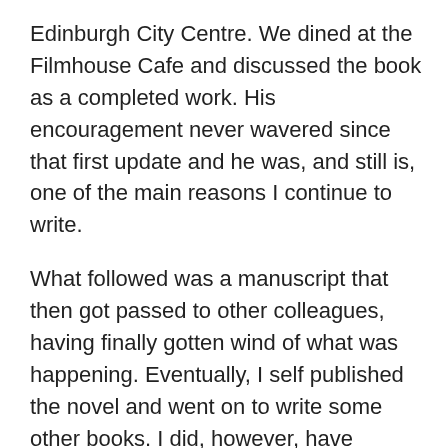Edinburgh City Centre. We dined at the Filmhouse Cafe and discussed the book as a completed work. His encouragement never wavered since that first update and he was, and still is, one of the main reasons I continue to write.
What followed was a manuscript that then got passed to other colleagues, having finally gotten wind of what was happening. Eventually, I self published the novel and went on to write some other books. I did, however, have another idea that I shared with Craig. An idea of a writing project that a couple of friends of mine had attempted back in my schooldays. I discussed it with Craig and the passion and enthusiasm he had for my writing mirrored that for this project.
The idea was simple. We would come up with a loose